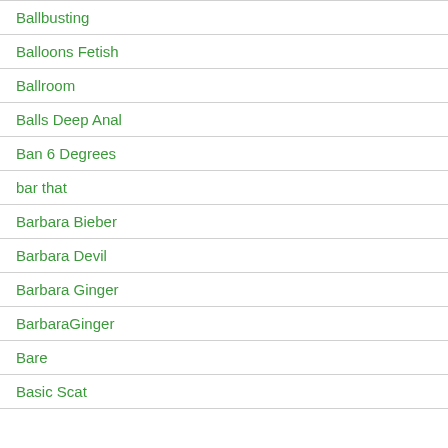Ballbusting
Balloons Fetish
Ballroom
Balls Deep Anal
Ban 6 Degrees
bar that
Barbara Bieber
Barbara Devil
Barbara Ginger
BarbaraGinger
Bare
Basic Scat